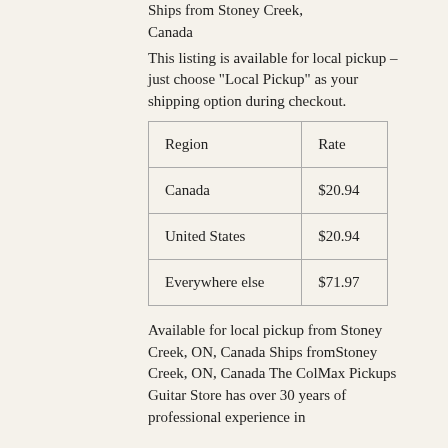Ships from Stoney Creek, Canada
This listing is available for local pickup – just choose "Local Pickup" as your shipping option during checkout.
| Region | Rate |
| --- | --- |
| Canada | $20.94 |
| United States | $20.94 |
| Everywhere else | $71.97 |
Available for local pickup from Stoney Creek, ON, Canada Ships fromStoney Creek, ON, Canada The ColMax Pickups Guitar Store has over 30 years of professional experience in